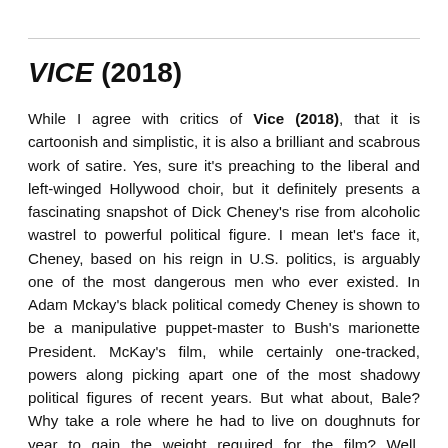VICE (2018)
While I agree with critics of Vice (2018), that it is cartoonish and simplistic, it is also a brilliant and scabrous work of satire. Yes, sure it's preaching to the liberal and left-winged Hollywood choir, but it definitely presents a fascinating snapshot of Dick Cheney's rise from alcoholic wastrel to powerful political figure. I mean let's face it, Cheney, based on his reign in U.S. politics, is arguably one of the most dangerous men who ever existed. In Adam Mckay's black political comedy Cheney is shown to be a manipulative puppet-master to Bush's marionette President. McKay's film, while certainly one-tracked, powers along picking apart one of the most shadowy political figures of recent years. But what about, Bale? Why take a role where he had to live on doughnuts for year to gain the weight required for the film? Well, because he likes to challenge himself and Bale should have won the Best actor Oscar! Rami Malek was just a Freddie Mercury robot...